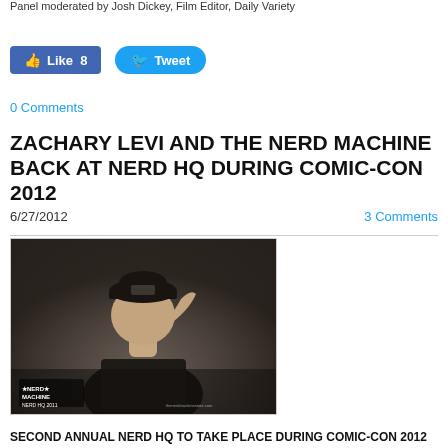Panel moderated by Josh Dickey, Film Editor, Daily Variety
[Figure (other): Facebook Like button showing 8 likes and Twitter Tweet button]
0 Comments
ZACHARY LEVI AND THE NERD MACHINE BACK AT NERD HQ DURING COMIC-CON 2012
6/27/2012
3 Comments
[Figure (photo): Black and white photo of a man wearing a trucker cap with 'Nerd Machine' branding, looking upward with hand behind neck. Nerd Machine Nerd HQ 2011 logo visible in bottom left corner.]
SECOND ANNUAL NERD HQ TO TAKE PLACE DURING COMIC-CON 2012